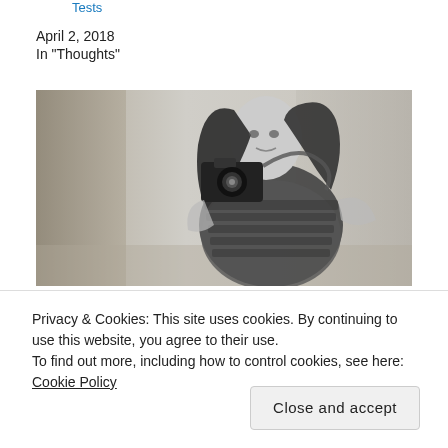Tests
April 2, 2018
In "Thoughts"
[Figure (photo): Black and white photograph of a young woman with long dark hair holding a camera up to her face, wearing a striped shirt, shot in an urban setting.]
Privacy & Cookies: This site uses cookies. By continuing to use this website, you agree to their use.
To find out more, including how to control cookies, see here: Cookie Policy